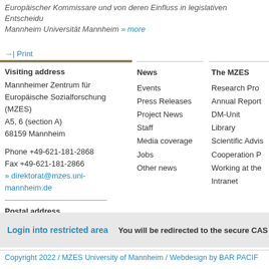Europäischer Kommissare und von deren Einfluss in legislativen Entscheidungen … Mannheim Universität Mannheim » more
→| Print
Visiting address
Mannheimer Zentrum für Europäische Sozialforschung (MZES)
A5, 6 (section A)
68159 Mannheim

Phone +49-621-181-2868
Fax +49-621-181-2866
» direktorat@mzes.uni-mannheim.de

Postal address
Universität Mannheim, MZES
68131 Mannheim, Germany
News
Events
Press Releases
Project News
Staff
Media coverage
Jobs
Other news
The MZES
Research Prog…
Annual Report…
DM-Unit
Library
Scientific Advis…
Cooperation P…
Working at the…
Intranet
Login into restricted area   You will be redirected to the secure CAS login page.
Copyright 2022 / MZES University of Mannheim / Webdesign by BAR PACIF…